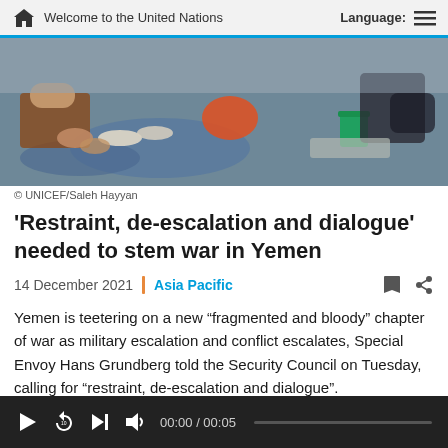Welcome to the United Nations | Language:
[Figure (photo): Photo of people sitting on the ground with bowls of food and a green cup, credited to UNICEF/Saleh Hayyan]
© UNICEF/Saleh Hayyan
'Restraint, de-escalation and dialogue' needed to stem war in Yemen
14 December 2021 | Asia Pacific
Yemen is teetering on a new “fragmented and bloody” chapter of war as military escalation and conflict escalates, Special Envoy Hans Grundberg told the Security Council on Tuesday, calling for “restraint, de-escalation and dialogue”.
00:00 / 00:05